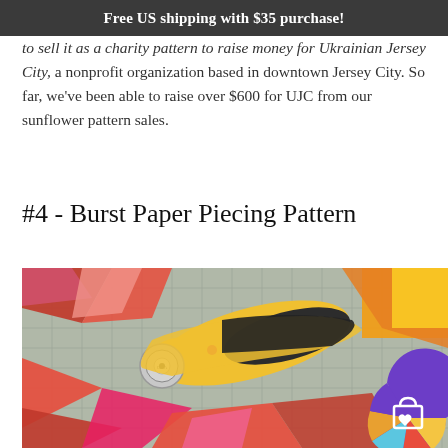Free US shipping with $35 purchase!
to sell it as a charity pattern to raise money for Ukrainian Jersey City, a nonprofit organization based in downtown Jersey City. So far, we've been able to raise over $600 for UJC from our sunflower pattern sales.
#4 - Burst Paper Piecing Pattern
[Figure (photo): A yellow and black rotary cutter tool lying on a grey cutting mat surrounded by colorful red, pink, orange and yellow fabric pieces. A circular shopping bag icon overlay appears in the bottom right corner.]